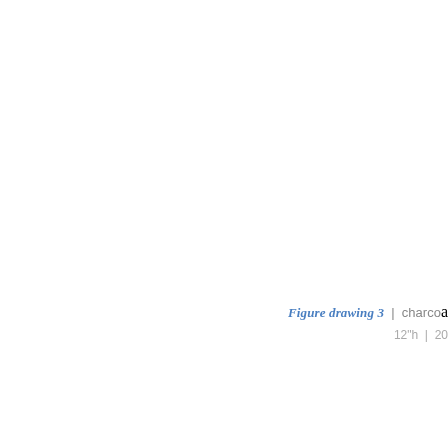Figure drawing 3  |  charcoal  |  12"h  |  20...